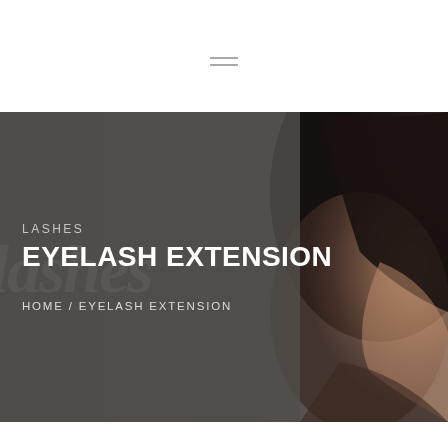[Figure (other): Navigation bar with hamburger menu icon (three horizontal lines) on white background]
[Figure (photo): Hero banner with dark charcoal overlay on left side showing text, and a close-up photo of a person's face/hair on the right side with warm brown tones]
LASHES
EYELASH EXTENSION
HOME / EYELASH EXTENSION